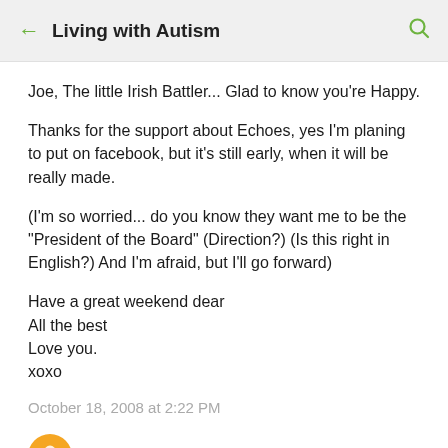Living with Autism
Joe, The little Irish Battler... Glad to know you're Happy.

Thanks for the support about Echoes, yes I'm planing to put on facebook, but it's still early, when it will be really made.

(I'm so worried... do you know they want me to be the "President of the Board" (Direction?) (Is this right in English?) And I'm afraid, but I'll go forward)

Have a great weekend dear
All the best
Love you.
xoxo
October 18, 2008 at 2:22 PM
Marmalade Wombat said...